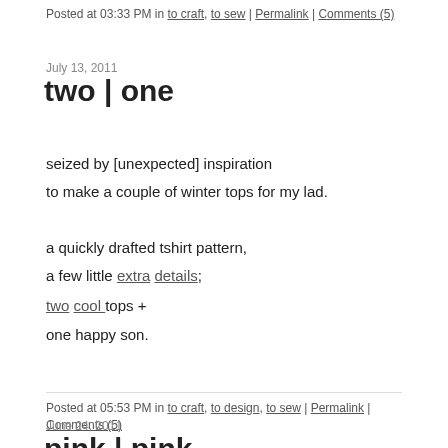Posted at 03:33 PM in to craft, to sew | Permalink | Comments (5)
July 13, 2011
two | one
seized by [unexpected] inspiration
to make a couple of winter tops for my lad.
a quickly drafted tshirt pattern,
a few little extra details;
two cool tops +
one happy son.
Posted at 05:53 PM in to craft, to design, to sew | Permalink | Comments (5)
June 24, 2011
pink | pink